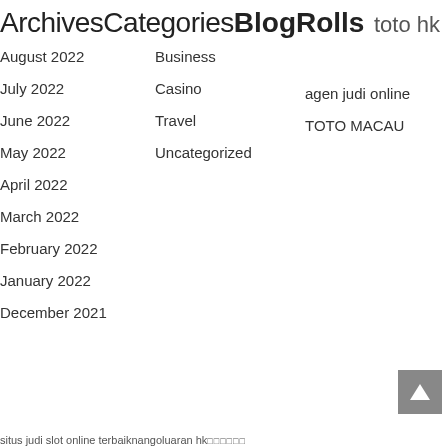ArchivesCategories BlogRolls    toto hk
August 2022
Business
July 2022
Casino
agen judi online
June 2022
Travel
TOTO MACAU
May 2022
Uncategorized
April 2022
March 2022
February 2022
January 2022
December 2021
situs judi slot online terbaiknangoluaran hk